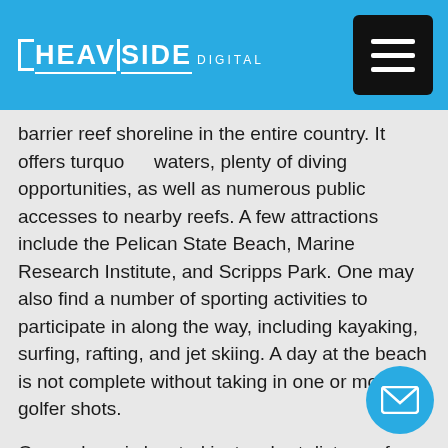HEAVISIDE DIGITAL
barrier reef shoreline in the entire country. It offers turquoise waters, plenty of diving opportunities, as well as numerous public accesses to nearby reefs. A few attractions include the Pelican State Beach, Marine Research Institute, and Scripps Park. One may also find a number of sporting activities to participate in along the way, including kayaking, surfing, rafting, and jet skiing. A day at the beach is not complete without taking in one or more golfer shots.
Orangeburg is located just a short distance from the state capitol. It is here that one can indulge in a wide array of activities, most notably golf. Orangeburg Golf Digest is an annual magazine published by the South Carolina Golf Association. This magazine features articles written by golf professionals about everything related to golf in South Carolina. Additionally, it features tips and articles about various tournaments, including the Olympics, Noosa Grand Prix, and the Southern Classic.